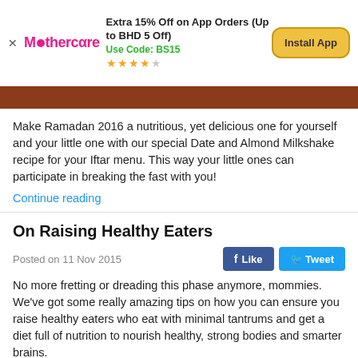[Figure (screenshot): Mothercare app advertisement banner with close button, logo, offer text 'Extra 15% Off on App Orders (Up to BHD 5 Off)', use code BS15, star rating, and Install App button]
[Figure (photo): Image strip at top of article, appears to be a dark reddish-brown food photo]
Make Ramadan 2016 a nutritious, yet delicious one for yourself and your little one with our special Date and Almond Milkshake recipe for your Iftar menu. This way your little ones can participate in breaking the fast with you!
Continue reading
On Raising Healthy Eaters
Posted on 11 Nov 2015
No more fretting or dreading this phase anymore, mommies. We've got some really amazing tips on how you can ensure you raise healthy eaters who eat with minimal tantrums and get a diet full of nutrition to nourish healthy, strong bodies and smarter brains.
Continue reading
Keeping Kids Safe In The Kitchen